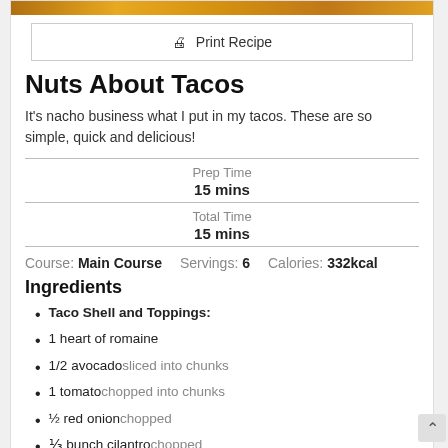[Figure (photo): Partial view of a taco dish photo at the top of the card]
🖨 Print Recipe
Nuts About Tacos
It's nacho business what I put in my tacos. These are so simple, quick and delicious!
Prep Time
15 mins
Total Time
15 mins
Course: Main Course   Servings: 6   Calories: 332kcal
Ingredients
Taco Shell and Toppings:
1 heart of romaine
1/2 avocado sliced into chunks
1 tomato chopped into chunks
½ red onion chopped
⅓ bunch cilantro chopped
2 tbsp lime juice
Taco Filling:
2 cups nuts walnuts and cashews